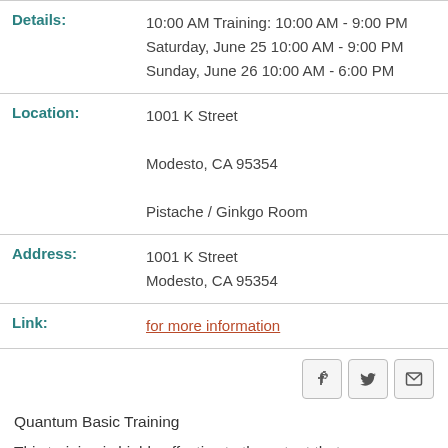| Field | Value |
| --- | --- |
| Details: | 10:00 AM Training: 10:00 AM - 9:00 PM
Saturday, June 25 10:00 AM - 9:00 PM
Sunday, June 26 10:00 AM - 6:00 PM |
| Location: | 1001 K Street
Modesto, CA 95354
Pistache / Ginkgo Room |
| Address: | 1001 K Street
Modesto, CA 95354 |
| Link: | for more information |
Quantum Basic Training
This training is highly effective to the extent that, as an individual, you actively participate in each and every one of the training sessions and dynamics.  We invite you to participate to the maximum, giving your 100%.  The people who benefit the most are those who...